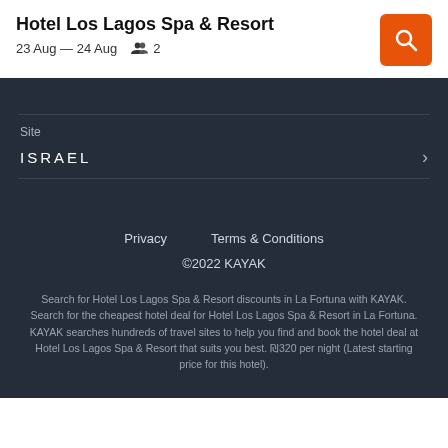Hotel Los Lagos Spa & Resort
23 Aug — 24 Aug  👥 2
Site
ISRAEL
Privacy   Terms & Conditions
©2022 KAYAK
Search for Hotel Los Lagos Spa & Resort discounts in La Fortuna with KAYAK. Search for the cheapest hotel deal for Hotel Los Lagos Spa & Resort in La Fortuna. KAYAK searches hundreds of travel sites to help you find and book the hotel deal at Hotel Los Lagos Spa & Resort that suits you best. ₪320 per night (Latest starting price for this hotel).